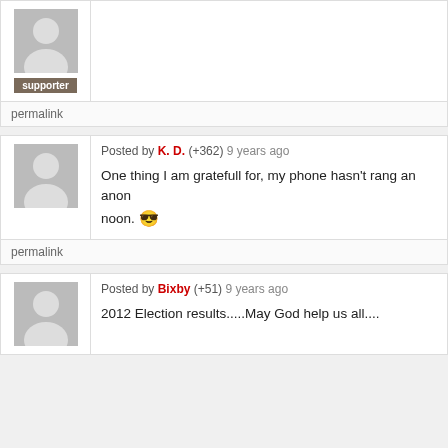[Figure (other): User avatar placeholder (gray silhouette) with supporter badge]
supporter
permalink
Posted by K. D. (+362) 9 years ago
One thing I am gratefull for, my phone hasn't rang an anon... noon. 😎
permalink
Posted by Bixby (+51) 9 years ago
2012 Election results.....May God help us all....